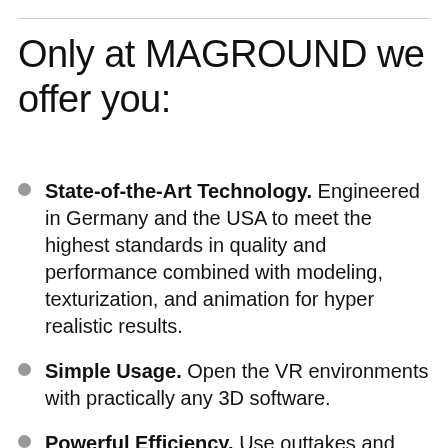Only at MAGROUND we offer you:
State-of-the-Art Technology. Engineered in Germany and the USA to meet the highest standards in quality and performance combined with modeling, texturization, and animation for hyper realistic results.
Simple Usage. Open the VR environments with practically any 3D software.
Powerful Efficiency. Use outtakes and tracking shots for print campaigns or videos thanks to supreme data quality.